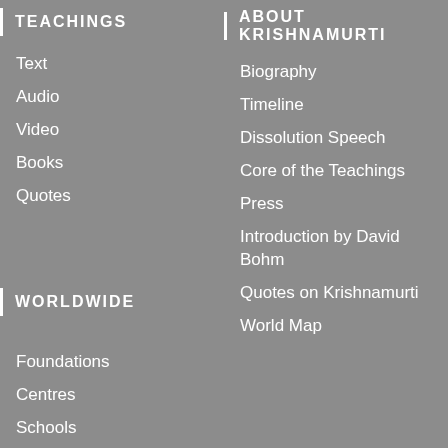TEACHINGS
Text
Audio
Video
Books
Quotes
ABOUT KRISHNAMURTI
Biography
Timeline
Dissolution Speech
Core of the Teachings
Press
Introduction by David Bohm
Quotes on Krishnamurti
World Map
WORLDWIDE
Foundations
Centres
Schools
Committees
Publications